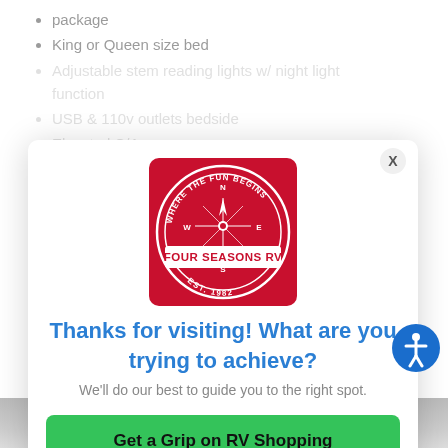package
King or Queen size bed
Adjustable stem reading lights w/ night light function
USB & 110v outlets bedside
Elevated C/A...
LCI due m... ...ress & decorative... ...package
Wood TV s... ...ry
[Figure (logo): Four Seasons RV logo — red circle with compass, text 'WHERE THE FUN BEGINS', 'FOUR SEASONS RV', 'EST. 1982' on red square background]
Thanks for visiting! What are you trying to achieve?
We'll do our best to guide you to the right spot.
Get a Grip on RV Shopping